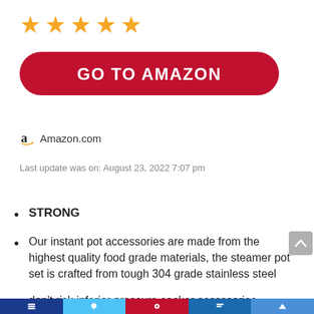[Figure (other): Five gold star rating icons]
[Figure (other): Red rounded button with text GO TO AMAZON in white bold letters]
[Figure (logo): Amazon logo (lowercase 'a' with arrow) followed by Amazon.com text]
Last update was on: August 23, 2022 7:07 pm
STRONG
Our instant pot accessories are made from the highest quality food grade materials, the steamer pot set is crafted from tough 304 grade stainless steel
don't risk inferior pressure cooker accessories, choose quality you can trust